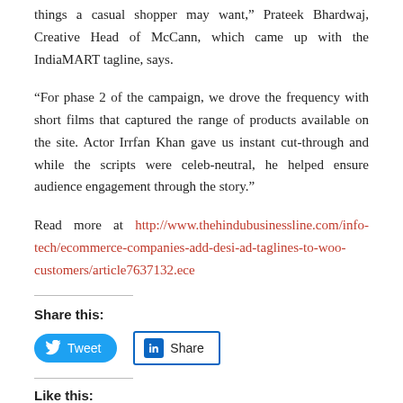things a casual shopper may want,” Prateek Bhardwaj, Creative Head of McCann, which came up with the IndiaMART tagline, says.
“For phase 2 of the campaign, we drove the frequency with short films that captured the range of products available on the site. Actor Irrfan Khan gave us instant cut-through and while the scripts were celeb-neutral, he helped ensure audience engagement through the story.”
Read more at http://www.thehindubusinessline.com/info-tech/ecommerce-companies-add-desi-ad-taglines-to-woo-customers/article7637132.ece
Share this:
[Figure (other): Twitter Tweet button and LinkedIn Share button]
Like this: